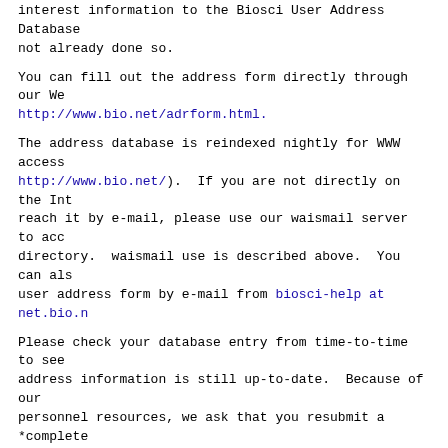interest information to the Biosci User Address Database if not already done so.
You can fill out the address form directly through our We http://www.bio.net/adrform.html.
The address database is reindexed nightly for WWW access http://www.bio.net/). If you are not directly on the Int reach it by e-mail, please use our waismail server to acc directory. waismail use is described above. You can als user address form by e-mail from biosci-help at net.bio.n
Please check your database entry from time-to-time to see address information is still up-to-date. Because of our personnel resources, we ask that you resubmit a *complete revise your entry; we only replace complete entries and d resources to edit old forms.
Previous message: COMPUTER HARDWARE / SOFTWARE
Next message: Question about QueryResult-Page
Messages sorted by: [ date ] [ thread ] [ subject ] [ author ]
More information about the Bio-srs mailing list